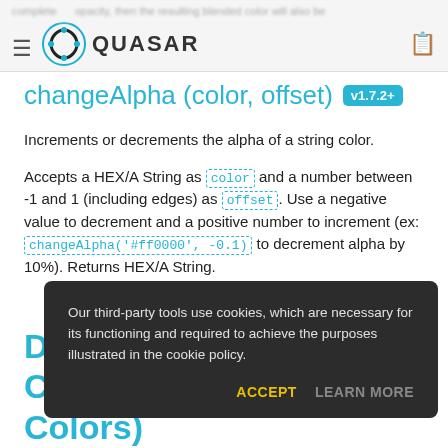QUASAR
changeAlpha (color, offset) v1.7.2+
Increments or decrements the alpha of a string color.
Accepts a HEX/A String as color and a number between -1 and 1 (including edges) as offset. Use a negative value to decrement and a positive number to increment (ex: changeAlpha('#ff0000', -0.1) to decrement alpha by 10%). Returns HEX/A String.
Dynamic Color Mixing (Colors)
Our third-party tools use cookies, which are necessary for its functioning and required to achieve the purposes illustrated in the cookie policy.